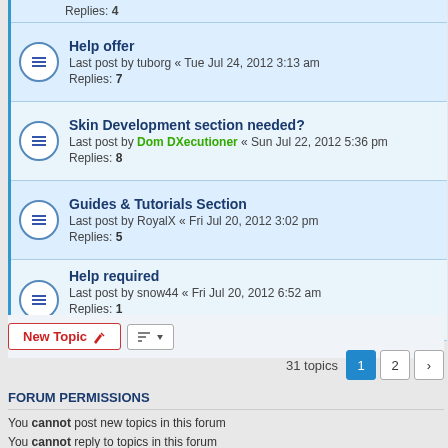Replies: 4
Help offer — Last post by tuborg « Tue Jul 24, 2012 3:13 am — Replies: 7
Skin Development section needed? — Last post by Dom DXecutioner « Sun Jul 22, 2012 5:36 pm — Replies: 8
Guides & Tutorials Section — Last post by RoyalX « Fri Jul 20, 2012 3:02 pm — Replies: 5
Help required — Last post by snow44 « Fri Jul 20, 2012 6:52 am — Replies: 1 — Rating: 0.44%
New Topic  |  Sort  |  31 topics  1  2  >
FORUM PERMISSIONS
You cannot post new topics in this forum
You cannot reply to topics in this forum
You cannot edit your posts in this forum